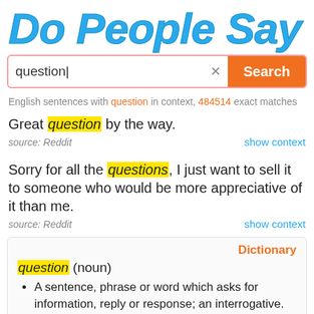Do People Say
[Figure (screenshot): Search bar with text 'question', an X clear button, and an orange Search button]
English sentences with question in context, 484514 exact matches
Great question by the way.
source: Reddit  show context
Sorry for all the questions, I just want to sell it to someone who would be more appreciative of it than me.
source: Reddit  show context
Dictionary
question (noun)
A sentence, phrase or word which asks for information, reply or response; an interrogative.
A subject or topic for consideration or